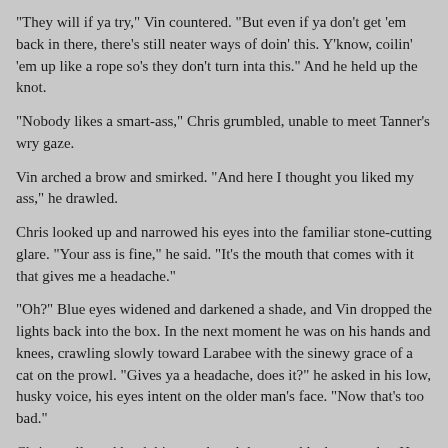"They will if ya try," Vin countered. "But even if ya don't get 'em back in there, there's still neater ways of doin' this. Y'know, coilin' 'em up like a rope so's they don't turn inta this." And he held up the knot.
"Nobody likes a smart-ass," Chris grumbled, unable to meet Tanner's wry gaze.
Vin arched a brow and smirked. "And here I thought you liked my ass," he drawled.
Chris looked up and narrowed his eyes into the familiar stone-cutting glare. "Your ass is fine," he said. "It's the mouth that comes with it that gives me a headache."
"Oh?" Blue eyes widened and darkened a shade, and Vin dropped the lights back into the box. In the next moment he was on his hands and knees, crawling slowly toward Larabee with the sinewy grace of a cat on the prowl. "Gives ya a headache, does it?" he asked in his low, husky voice, his eyes intent on the older man's face. "Now that's too bad."
Chris swallowed hard, his mouth and throat suddenly gone dry. He could do nothing but watch Vin slink toward him, couldn't move, couldn't think, couldn't breathe. Those blue eyes snared him,